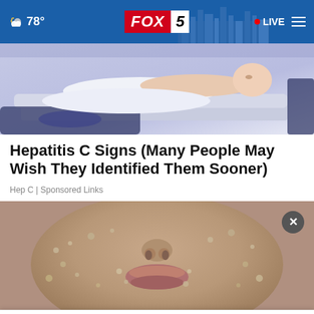☁ 78° FOX 5 • LIVE
[Figure (illustration): Illustration of a person lying in bed, sleeping, with light blue/purple tones. Cartoon style depiction of someone in white bedding.]
Hepatitis C Signs (Many People May Wish They Identified Them Sooner)
Hep C | Sponsored Links
[Figure (photo): Close-up photo of a person's face covered in small bumps or blisters, focusing on the nose and lips area. Used to illustrate skin symptoms of Hepatitis C.]
[Figure (screenshot): Toyota National Sales Event advertisement banner showing Toyota logo, text 'NATIONAL SALES EVENT' and images of two Toyota SUV vehicles.]